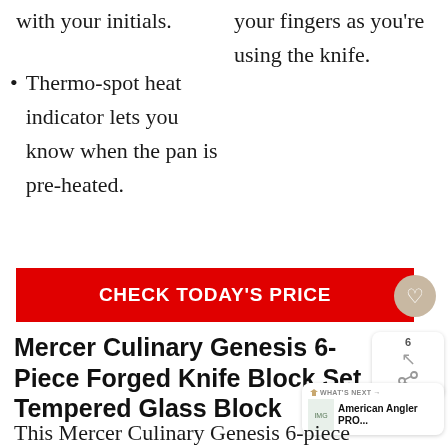with your initials.
Thermo-spot heat indicator lets you know when the pan is pre-heated.
your fingers as you're using the knife.
[Figure (other): Red CTA button with white text CHECK TODAY'S PRICE and a tan circular heart/favorite icon button]
Mercer Culinary Genesis 6-Piece Forged Knife Block Set, Tempered Glass Block
This Mercer Culinary Genesis 6-piece forged